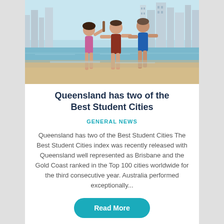[Figure (photo): Three young people playing on a beach with city skyline (Gold Coast or Brisbane) in the background. One person in a bikini holding a bat, two others in shorts standing in shallow water.]
Queensland has two of the Best Student Cities
GENERAL NEWS
Queensland has two of the Best Student Cities The Best Student Cities index was recently released with Queensland well represented as Brisbane and the Gold Coast ranked in the Top 100 cities worldwide for the third consecutive year. Australia performed exceptionally...
Read More